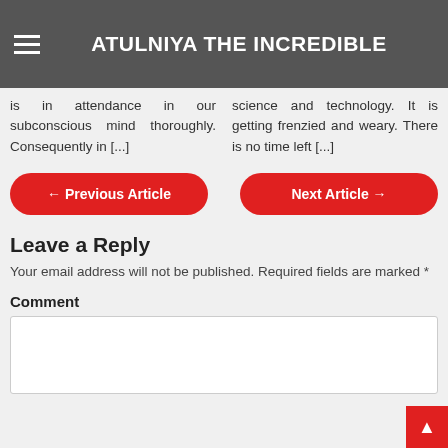ATULNIYA THE INCREDIBLE
is in attendance in our subconscious mind thoroughly. Consequently in [...]
science and technology. It is getting frenzied and weary. There is no time left [...]
← Previous Article
Next Article →
Leave a Reply
Your email address will not be published. Required fields are marked *
Comment